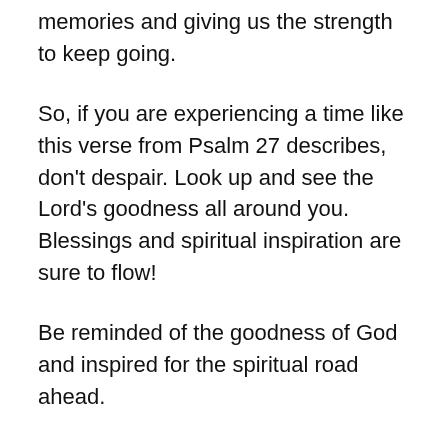memories and giving us the strength to keep going.
So, if you are experiencing a time like this verse from Psalm 27 describes, don’t despair. Look up and see the Lord’s goodness all around you. Blessings and spiritual inspiration are sure to flow!
Be reminded of the goodness of God and inspired for the spiritual road ahead.
Print this Psalm